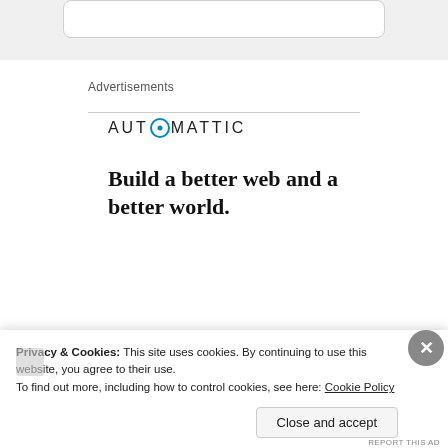[Figure (screenshot): Top rounded rectangle box at top of page, white background with light border]
Advertisements
[Figure (logo): Automattic logo with compass icon between AUT and MATTIC in spaced uppercase letters]
Build a better web and a better world.
[Figure (illustration): Blue Apply button with white text; circular photo of a man wearing glasses and a beige t-shirt, looking thoughtful]
Privacy & Cookies: This site uses cookies. By continuing to use this website, you agree to their use.
To find out more, including how to control cookies, see here: Cookie Policy
Close and accept